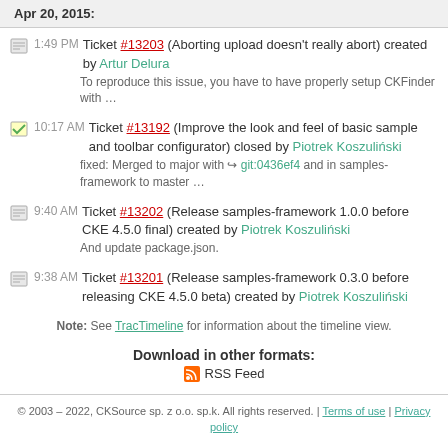Apr 20, 2015:
1:49 PM Ticket #13203 (Aborting upload doesn't really abort) created by Artur Delura
To reproduce this issue, you have to have properly setup CKFinder with …
10:17 AM Ticket #13192 (Improve the look and feel of basic sample and toolbar configurator) closed by Piotrek Koszulinski
fixed: Merged to major with git:0436ef4 and in samples-framework to master …
9:40 AM Ticket #13202 (Release samples-framework 1.0.0 before CKE 4.5.0 final) created by Piotrek Koszulinski
And update package.json.
9:38 AM Ticket #13201 (Release samples-framework 0.3.0 before releasing CKE 4.5.0 beta) created by Piotrek Koszulinski
Note: See TracTimeline for information about the timeline view.
Download in other formats:
RSS Feed
© 2003 – 2022, CKSource sp. z o.o. sp.k. All rights reserved. | Terms of use | Privacy policy